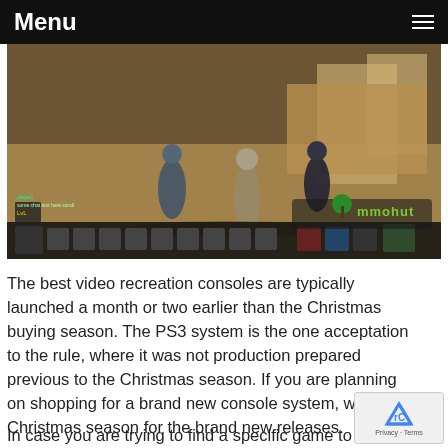Menu
[Figure (screenshot): Screenshot of an MMO video game showing player characters in a marketplace/town area with HUD elements, action bar, and mmohut.com watermark logo]
The best video recreation consoles are typically launched a month or two earlier than the Christmas buying season. The PS3 system is the one acceptation to the rule, where it was not production prepared previous to the Christmas season. If you are planning on shopping for a brand new console system, wait the Christmas season for the brand new releases.
In case you are trying to find a specific game to buy...